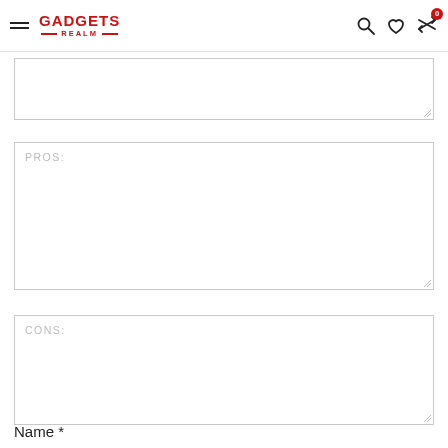GADGETS REALM
PROS:
CONS:
Name *